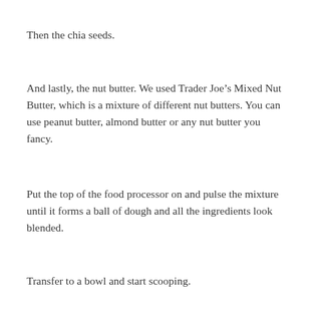Then the chia seeds.
And lastly, the nut butter. We used Trader Joe’s Mixed Nut Butter, which is a mixture of different nut butters. You can use peanut butter, almond butter or any nut butter you fancy.
Put the top of the food processor on and pulse the mixture until it forms a ball of dough and all the ingredients look blended.
Transfer to a bowl and start scooping.